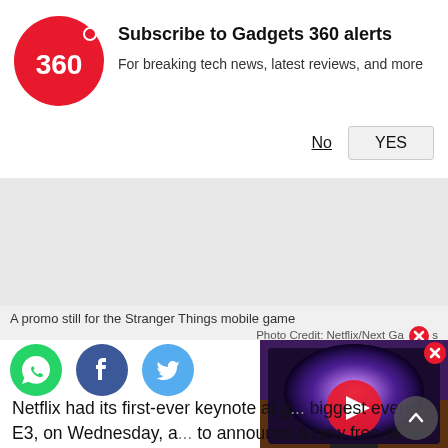[Figure (logo): Gadgets 360 red circle logo with '360' text]
Subscribe to Gadgets 360 alerts
For breaking tech news, latest reviews, and more
No
YES
A promo still for the Stranger Things mobile game
Photo Credit: Netflix/Next Ga...
[Figure (photo): Social sharing icons: WhatsApp (green), Facebook (dark blue), Twitter (light blue)]
[Figure (screenshot): Video thumbnail showing a TV with purple galaxy wallpaper, with a play button overlay]
Netflix had its first-ever keynote at g... biggest event, E3, on Wednesday, a... to announce a new free-to-play Stranger Things mobile game, which will be a “location-based RPG / puzzler”. If that sounds a bit like Pokemon Go, you'd be right. With